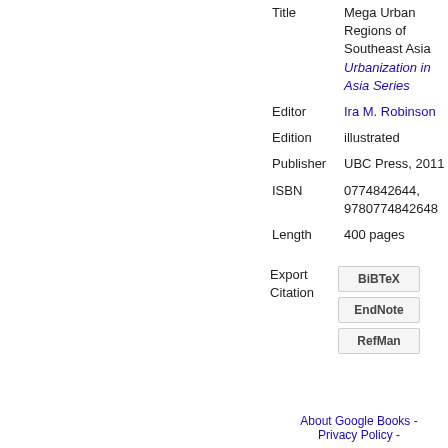| Title | Mega Urban Regions of Southeast Asia
Urbanization in Asia Series |
| Editor | Ira M. Robinson |
| Edition | illustrated |
| Publisher | UBC Press, 2011 |
| ISBN | 0774842644, 9780774842648 |
| Length | 400 pages |
Export Citation
BiBTeX
EndNote
RefMan
About Google Books - Privacy Policy -